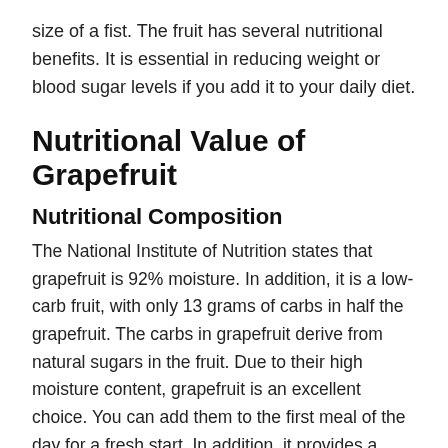size of a fist. The fruit has several nutritional benefits. It is essential in reducing weight or blood sugar levels if you add it to your daily diet.
Nutritional Value of Grapefruit
Nutritional Composition
The National Institute of Nutrition states that grapefruit is 92% moisture. In addition, it is a low-carb fruit, with only 13 grams of carbs in half the grapefruit. The carbs in grapefruit derive from natural sugars in the fruit. Due to their high moisture content, grapefruit is an excellent choice. You can add them to the first meal of the day for a fresh start. In addition, it provides a reasonable amount of fibre along with beneficial vitamins and minerals.